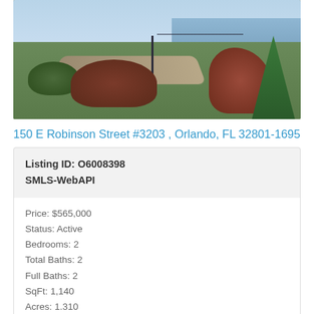[Figure (photo): Outdoor park/garden area with red-brown bushes, green shrubs, a walking path, lamp post, and water visible in background — exterior grounds near a residential building]
150 E Robinson Street #3203 , Orlando, FL 32801-1695
Listing ID: O6008398
SMLS-WebAPI
Price: $565,000
Status: Active
Bedrooms: 2
Total Baths: 2
Full Baths: 2
SqFt: 1,140
Acres: 1.310
Subdivision: Vue/Lk Eola
Amazing opportunity to live at downtown Orlando's most